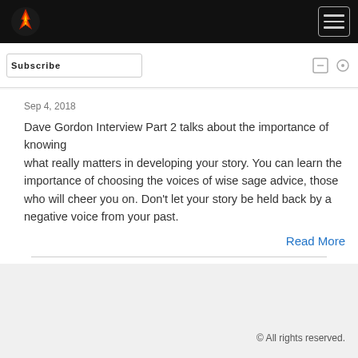Navigation bar with logo and hamburger menu
Sep 4, 2018
Dave Gordon Interview Part 2 talks about the importance of knowing what really matters in developing your story. You can learn the importance of choosing the voices of wise sage advice, those who will cheer you on. Don't let your story be held back by a negative voice from your past.
Read More
© All rights reserved.